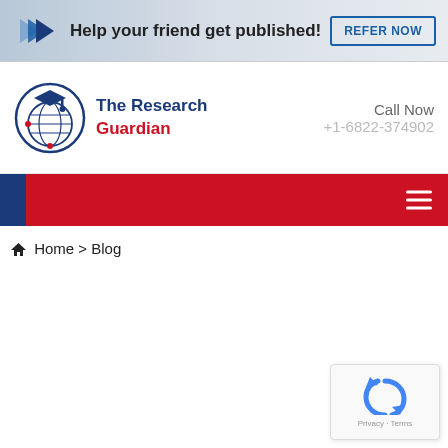[Figure (screenshot): Banner ad with blue arrow chevrons, text 'Help your friend get published!' and a 'REFER NOW' button with blue border]
[Figure (logo): The Research Guardian logo: circular emblem with globe and graduation cap, blue and red colors, with text 'The Research Guardian' in blue and red]
Call Now
+1-6822-374902
[Figure (screenshot): Navigation bar with blue left strip and red background with hamburger menu icon (three white lines) on right]
Home > Blog